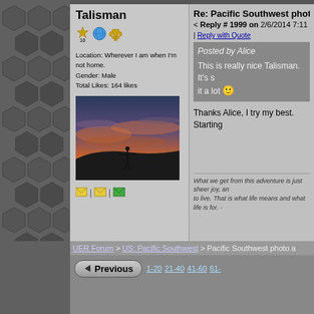[Figure (illustration): Left panel with dark hexagonal honeycomb pattern on grey background]
Talisman
[Figure (illustration): User icons: star with 10, globe, trophy]
Location: Wherever I am when I'm not home.
Gender: Male
Total Likes: 164 likes
[Figure (photo): Silhouette of person standing on hill with arms outstretched against dramatic sunset sky with orange and pink clouds]
[Figure (illustration): Three small envelope/message icons with | separators]
Re: Pacific Southwest photo a day
< Reply # 1999 on 2/6/2014 7:11 P
| Reply with Quote
Posted by Alice
This is really nice Talisman. It's s it a lot 🙂
Thanks Alice, I try my best. Starting
What we get from this adventure is just sheer joy, and to live. That is what life means and what life is for. -
UER Forum > US: Pacific Southwest > Pacific Southwest photo a
Previous  1-20 21-40 41-60 61-